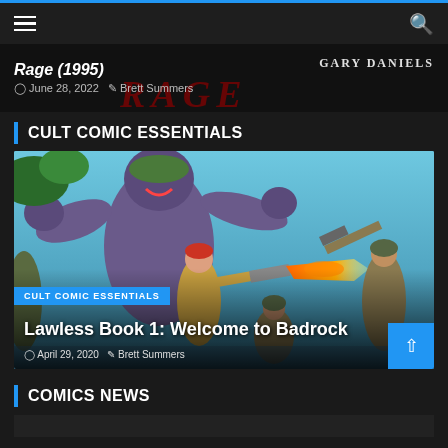Navigation bar with hamburger menu and search icon
Rage (1995)
GARY DANIELS
June 28, 2022   Brett Summers
CULT COMIC ESSENTIALS
[Figure (illustration): Comic book cover art showing muscular characters in combat, with a woman firing a gun with flame, and soldiers, against a teal background]
CULT COMIC ESSENTIALS
Lawless Book 1: Welcome to Badrock
April 29, 2020   Brett Summers
COMICS NEWS